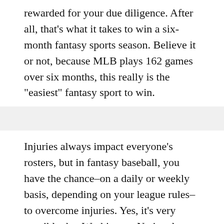rewarded for your due diligence. After all, that's what it takes to win a six-month fantasy sports season. Believe it or not, because MLB plays 162 games over six months, this really is the "easiest" fantasy sport to win.
Injuries always impact everyone's rosters, but in fantasy baseball, you have the chance–on a daily or weekly basis, depending on your league rules–to overcome injuries. Yes, it's very possible that Washington Nationals outfielder Bryce Harper's injury that cost him the final two months of the season also hurt your chances to win; some players are irreplaceable. But fantasy baseball is the most forgiving when it comes to surviving injuries to star